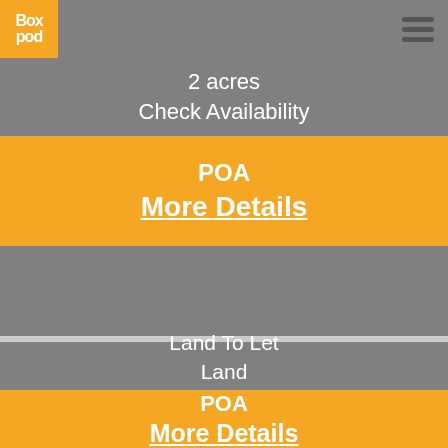[Figure (logo): BoxPod logo - orange square with white 'Box pod' text]
2 acres
Check Availability
POA
More Details
Land To Let
Land
Northampton, NN6 7RQ
13.6 miles
13.7 acres
Available
POA
More Details